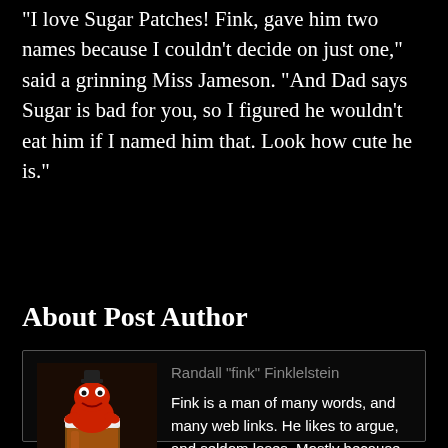"I love Sugar Patches! Fink, gave him two names because I couldn't decide on just one," said a grinning Miss Jameson. "And Dad says Sugar is bad for you, so I figured he wouldn't eat him if I named him that. Look how cute he is."
About Post Author
[Figure (photo): Profile photo showing a cartoon red frog mascot overlaid on a photo of a beer glass]
Randall "fink" Finklelstein
Fink is a man of many words, and many web links. He likes to argue, and seldom loses. Mostly because he's well informed. And somewhat gassy.